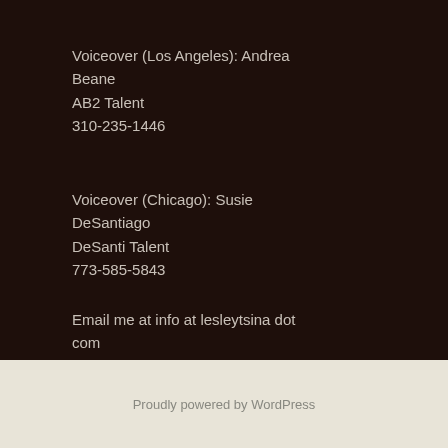Voiceover (Los Angeles): Andrea Beane
AB2 Talent
310-235-1446
Voiceover (Chicago): Susie DeSantiago
DeSanti Talent
773-585-5843
Email me at info at lesleytsina dot com
Proudly powered by WordPress